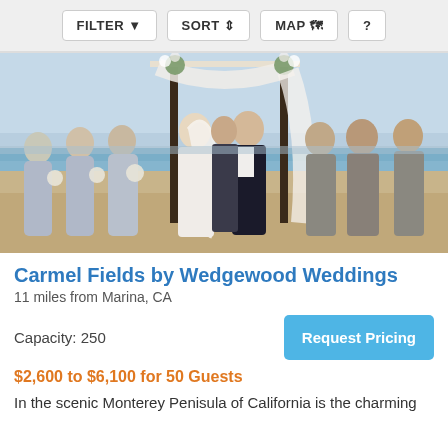FILTER  SORT  MAP  ?
[Figure (photo): Outdoor beach wedding ceremony with bride and groom exchanging vows under a floral arch, flanked by bridesmaids in light blue gowns on the left and groomsmen in grey suits on the right, with ocean visible in background]
Carmel Fields by Wedgewood Weddings
11 miles from Marina, CA
Capacity: 250
Request Pricing
$2,600 to $6,100 for 50 Guests
In the scenic Monterey Penisula of California is the charming